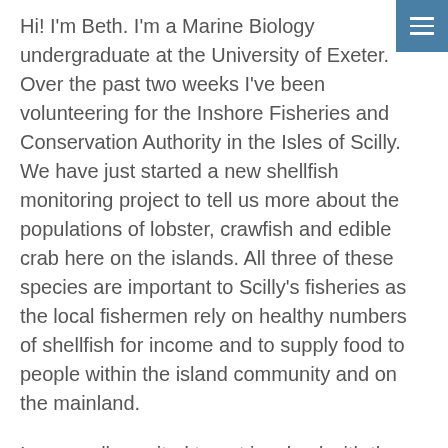[Figure (other): Hamburger menu icon button with three horizontal white lines on a blue-grey background, positioned in the top-right corner]
Hi! I'm Beth. I'm a Marine Biology undergraduate at the University of Exeter. Over the past two weeks I've been volunteering for the Inshore Fisheries and Conservation Authority in the Isles of Scilly. We have just started a new shellfish monitoring project to tell us more about the populations of lobster, crawfish and edible crab here on the islands. All three of these species are important to Scilly's fisheries as the local fishermen rely on healthy numbers of shellfish for income and to supply food to people within the island community and on the mainland.
I was really excited to get involved with the project and be out on the water every day. I had previously worked offshore and carried out at-sea monitoring, but the whole sector of fisheries was new to me. I have never held, measured or tagged a lobster before, and was nervous I might return to the mainland with a few fine cuts.